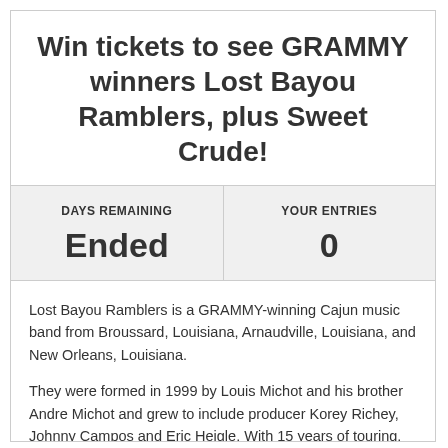Win tickets to see GRAMMY winners Lost Bayou Ramblers, plus Sweet Crude!
| DAYS REMAINING | YOUR ENTRIES |
| --- | --- |
| Ended | 0 |
Lost Bayou Ramblers is a GRAMMY-winning Cajun music band from Broussard, Louisiana, Arnaudville, Louisiana, and New Orleans, Louisiana.
They were formed in 1999 by Louis Michot and his brother Andre Michot and grew to include producer Korey Richey, Johnny Campos and Eric Heigle. With 15 years of touring, recording, and collaborating under their belt, the band has continually integrated new sonic elements to its live performances, always experimenting and growing the show to what it's become today, an eclectic mix of modern sounds and